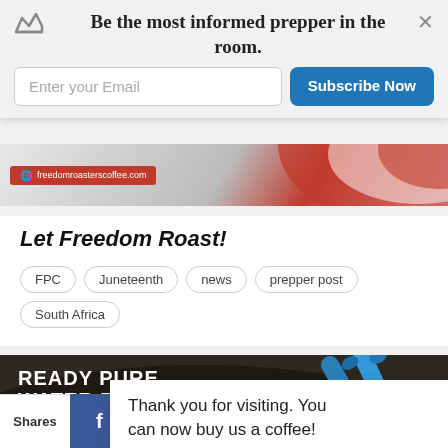Be the most informed prepper in the room.
[Figure (screenshot): Email subscription bar with input field and Subscribe Now button]
[Figure (screenshot): freedomroasterscoffee.com ad banner with red and white swoosh]
Let Freedom Roast!
FPC
Juneteenth
news
prepper post
South Africa
[Figure (screenshot): Storm Protection Agency - Ready Pure Water Filter advertisement with blue water filters on dark stormy background]
Thank you for visiting. You can now buy us a coffee!
Shares | Facebook | Twitter | Google+ | Pinterest | Email | Crown